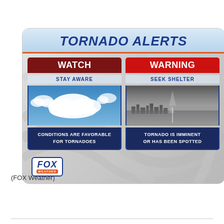[Figure (infographic): Fox Weather Tornado Alerts infographic showing two panels: WATCH (Stay Aware - Conditions are favorable for tornadoes, with blue sky and clouds image) and WARNING (Seek Shelter - Tornado is imminent or has been spotted, with dark storm image). Title bar reads TORNADO ALERTS. Fox Weather logo in bottom left.]
(FOX Weather)